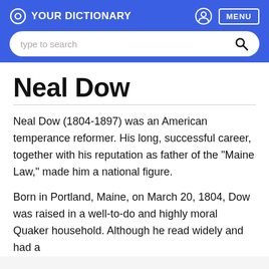YOURDICTIONARY
Neal Dow
Neal Dow (1804-1897) was an American temperance reformer. His long, successful career, together with his reputation as father of the "Maine Law," made him a national figure.
Born in Portland, Maine, on March 20, 1804, Dow was raised in a well-to-do and highly moral Quaker household. Although he read widely and had a